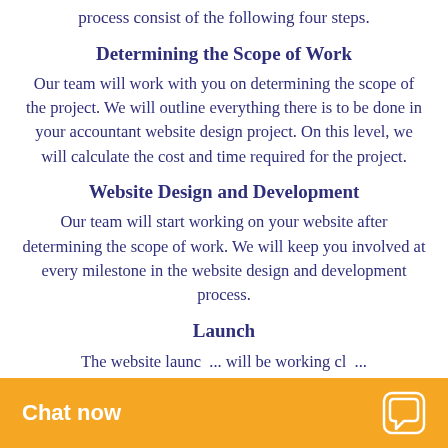process consist of the following four steps.
Determining the Scope of Work
Our team will work with you on determining the scope of the project. We will outline everything there is to be done in your accountant website design project. On this level, we will calculate the cost and time required for the project.
Website Design and Development
Our team will start working on your website after determining the scope of work. We will keep you involved at every milestone in the website design and development process.
Launch
The website launch... will be working cl...
Chat now